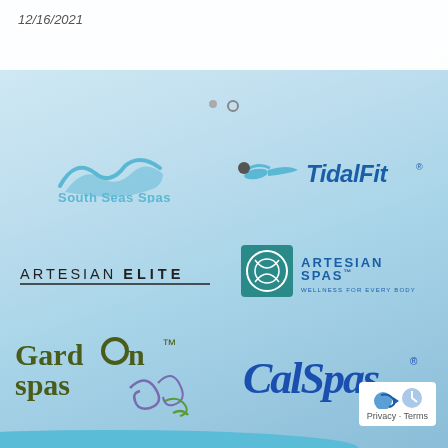12/16/2021
[Figure (logo): South Seas Spas logo with wave graphic and teal text]
[Figure (logo): TidalFit logo with swimmer silhouette and bold italic blue text]
[Figure (logo): Artesian Elite logo in uppercase dark lettering]
[Figure (logo): Artesian Spas logo with teal square icon and blue uppercase text, WELLNESS FOR EVERY BODY tagline]
[Figure (logo): Garden Spas logo in dark olive green serif font with decorative swirl]
[Figure (logo): Cal Spas logo in script blue cursive font]
Privacy · Terms